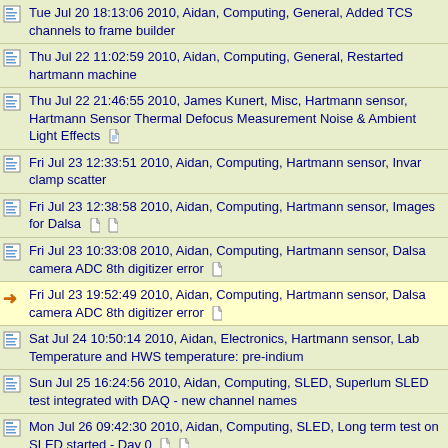Tue Jul 20 18:13:06 2010, Aidan, Computing, General, Added TCS channels to frame builder
Thu Jul 22 11:02:59 2010, Aidan, Computing, General, Restarted hartmann machine
Thu Jul 22 21:46:55 2010, James Kunert, Misc, Hartmann sensor, Hartmann Sensor Thermal Defocus Measurement Noise & Ambient Light Effects [attachment]
Fri Jul 23 12:33:51 2010, Aidan, Computing, Hartmann sensor, Invar clamp scatter
Fri Jul 23 12:38:58 2010, Aidan, Computing, Hartmann sensor, Images for Dalsa [attachments]
Fri Jul 23 10:33:08 2010, Aidan, Computing, Hartmann sensor, Dalsa camera ADC 8th digitizer error [attachment]
Fri Jul 23 19:52:49 2010, Aidan, Computing, Hartmann sensor, Dalsa camera ADC 8th digitizer error [attachment] [reply]
Sat Jul 24 10:50:14 2010, Aidan, Electronics, Hartmann sensor, Lab Temperature and HWS temperature: pre-indium
Sun Jul 25 16:24:56 2010, Aidan, Computing, SLED, Superlum SLED test integrated with DAQ - new channel names
Mon Jul 26 09:42:30 2010, Aidan, Computing, SLED, Long term test on SLED started - Day 0 [attachments]
Mon Jul 26 12:17:25 2010, Aidan, Electronics, Hartmann sensor, Added Indium HWS [attachments]
Mon Jul 26 18:47:12 2010, James K, Misc, Hartmann sensor, Hex Grid Analysis Errors and Thermal Defocus Noise [attachments]